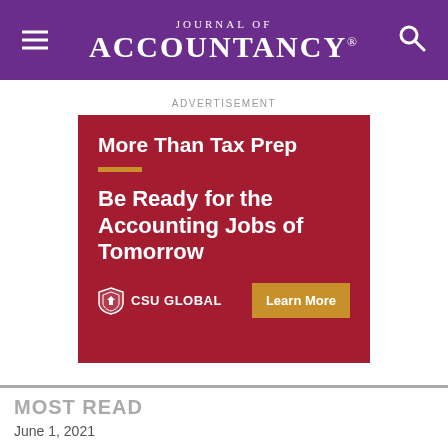Journal of Accountancy
ADVERTISEMENT
[Figure (infographic): CSU Global advertisement on dark red background. Headline: 'More Than Tax Prep'. Subheadline: 'Be Ready for the Accounting Jobs of Tomorrow'. CSU Global logo at bottom left. 'Learn More' button at bottom right.]
MOST READ
June 1, 2021